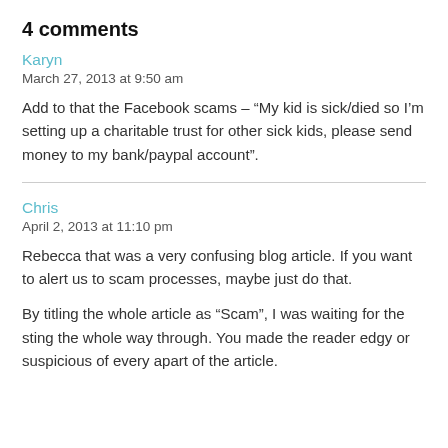4 comments
Karyn
March 27, 2013 at 9:50 am
Add to that the Facebook scams – “My kid is sick/died so I’m setting up a charitable trust for other sick kids, please send money to my bank/paypal account”.
Chris
April 2, 2013 at 11:10 pm
Rebecca that was a very confusing blog article. If you want to alert us to scam processes, maybe just do that.
By titling the whole article as “Scam”, I was waiting for the sting the whole way through. You made the reader edgy or suspicious of every apart of the article.